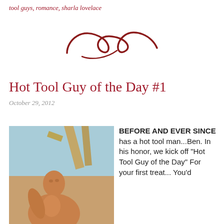tool guys, romance, sharla lovelace
[Figure (logo): Decorative cursive script logo in dark red/maroon color, resembling stylized overlapping loops]
Hot Tool Guy of the Day #1
October 29, 2012
[Figure (photo): A shirtless muscular man looking upward against a blue sky, with wooden beams/structure in the background]
BEFORE AND EVER SINCE has a hot tool man...Ben.  In his honor, we kick off "Hot Tool Guy of the Day" For your first treat... You'd